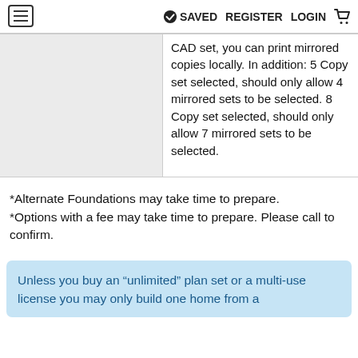≡  ✔ SAVED  REGISTER  LOGIN  🛒
|  | CAD set, you can print mirrored copies locally. In addition: 5 Copy set selected, should only allow 4 mirrored sets to be selected. 8 Copy set selected, should only allow 7 mirrored sets to be selected. |
*Alternate Foundations may take time to prepare.
*Options with a fee may take time to prepare. Please call to confirm.
Unless you buy an “unlimited” plan set or a multi-use license you may only build one home from a